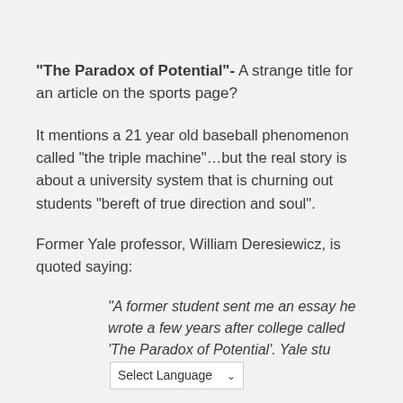“The Paradox of Potential”- A strange title for an article on the sports page?
It mentions a 21 year old baseball phenomenon called “the triple machine”…but the real story is about a university system that is churning out students “bereft of true direction and soul”.
Former Yale professor, William Deresiewicz, is quoted saying:
“A former student sent me an essay he wrote a few years after college called ‘The Paradox of Potential’. Yale stu[Select Language ∨]